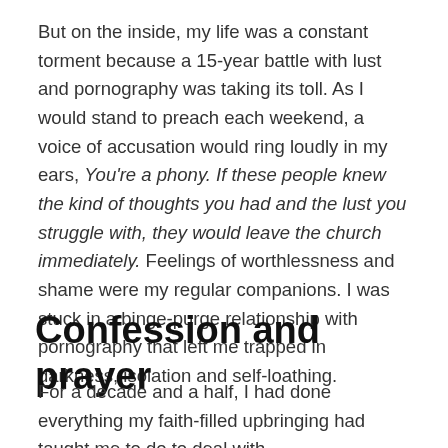But on the inside, my life was a constant torment because a 15-year battle with lust and pornography was taking its toll. As I would stand to preach each weekend, a voice of accusation would ring loudly in my ears, You're a phony. If these people knew the kind of thoughts you had and the lust you struggle with, they would leave the church immediately. Feelings of worthlessness and shame were my regular companions. I was stuck in a binge-purge relationship with pornography that left me trapped in darkness, isolation and self-loathing.
Confession and prayer
For a decade and a half, I had done everything my faith-filled upbringing had taught me to do to deal with